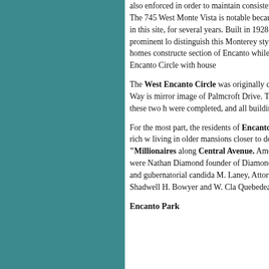also enforced in order to maintain consistent angle setbacks, which followed the line of the streets. The 745 West Monte Vista is notable because George T one of the two developers of Encanto, lived in this site, for several years. Built in 1928 as one of the m homes, the unusual entry tower and its prominent lo distinguish this Monterey style dwelling. At 1102 an West Palm Lane are the first two homes constructe section of Encanto while it was still part of the overa scheme to fill the second Encanto Circle with house
The West Encanto Circle was originally conceived mirror image of Encanto Drive, as Palmcroft Way is mirror image of Palmcroft Drive. The Great Depress Phoenix with full force in 1932, the year these two h were completed, and all building stopped.
For the most part, the residents of Encanto and Pa were well to-do rather than wealthy. The very rich w living in older mansions closer to downtown, in esta subdivisions like Los Olivos, and on "Millionaires along Central Avenue. Among the prominent Phoe living in Encanto-Palmcroft were Nathan Diamond founder of Diamond's department store; O.D. Miller magnate, State Senator, and gubernatorial candida M. Laney, Attorney and Board of Regents member; automobile dealers Shadwell H. Bowyer and W. Cla Quebedeaux.
Encanto Park